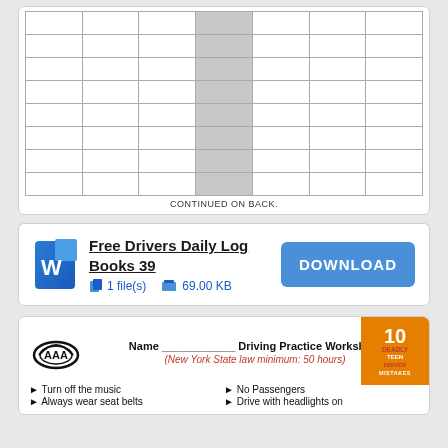|  |  |  |  |  |  |  |
|  |  |  |  |  |  |  |
|  |  |  |  |  |  |  |
|  |  |  |  |  |  |  |
|  |  |  |  |  |  |  |
|  |  |  |  |  |  |  |
|  |  |  |  |  |  |  |
|  |  |  |  |  |  |  |
CONTINUED ON BACK.
[Figure (screenshot): Download card for Free Drivers Daily Log Books 39 with Word icon and download button showing 1 file(s) and 69.00 KB]
Free Drivers Daily Log Books 39
1 file(s)   69.00 KB
[Figure (screenshot): AAA Driving Practice Worksheet preview with logo, name field, subtitle (New York State law minimum: 50 hours), and bullet points: Turn off the music, Always wear seat belts, No Passengers, Drive with headlights on. Orange badge: 10 Deadly Teen Driver Mistakes]